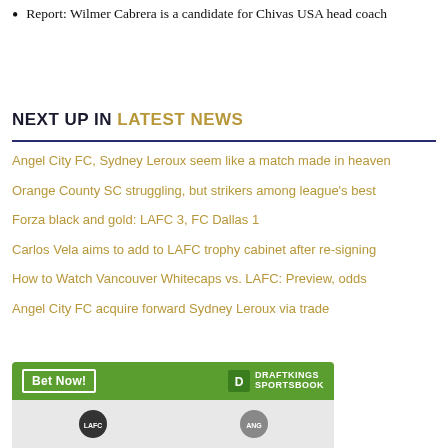Report: Wilmer Cabrera is a candidate for Chivas USA head coach
NEXT UP IN LATEST NEWS
Angel City FC, Sydney Leroux seem like a match made in heaven
Orange County SC struggling, but strikers among league's best
Forza black and gold: LAFC 3, FC Dallas 1
Carlos Vela aims to add to LAFC trophy cabinet after re-signing
How to Watch Vancouver Whitecaps vs. LAFC: Preview, odds
Angel City FC acquire forward Sydney Leroux via trade
[Figure (other): DraftKings Sportsbook betting banner with Bet Now button and team logos at bottom]